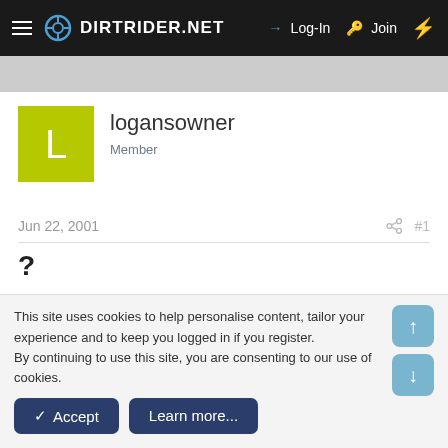DIRTRIDER.NET  →Log-In  Join
logansowner
Member
Jun 22, 2001  #1
?
I 222
Last edited: Mar 17, 2006
This site uses cookies to help personalise content, tailor your experience and to keep you logged in if you register.
By continuing to use this site, you are consenting to our use of cookies.